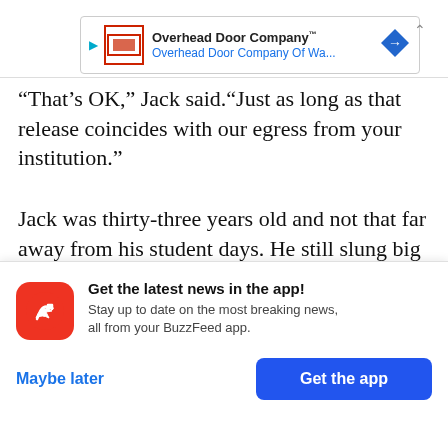[Figure (screenshot): Advertisement banner for Overhead Door Company with logo, company name, and navigation icon]
“That’s OK,” Jack said.“Just as long as that release coincides with our egress from your institution.”
Jack was thirty-three years old and not that far away from his student days. He still slung big words around as if they made him sound smart. I usually felt embarrassed by the way he spoke, but that day I was filled with glee.
[Figure (screenshot): BuzzFeed app notification banner: Get the latest news in the app! Stay up to date on the most breaking news, all from your BuzzFeed app. Buttons: Maybe later, Get the app]